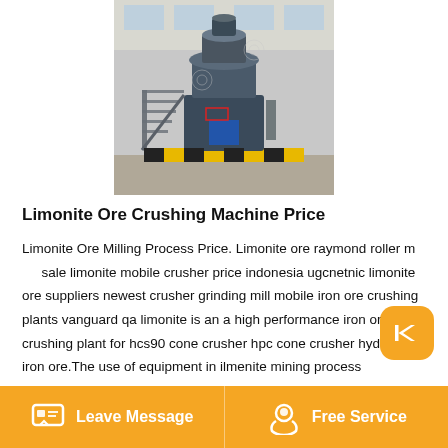[Figure (photo): Industrial limonite ore crushing machine in a factory/warehouse setting. Large heavy machinery with metal framework, stairs on the side, and machinery components visible. The machine sits on a yellow platform/base.]
Limonite Ore Crushing Machine Price
Limonite Ore Milling Process Price. Limonite ore raymond roller mill for sale limonite mobile crusher price indonesia ugcnetnic limonite ore suppliers newest crusher grinding mill mobile iron ore crushing plants vanguard qa limonite is an a high performance iron ore crushing plant for hcs90 cone crusher hpc cone crusher hydraulic iron ore.The use of equipment in ilmenite mining process Equipment for Lead and Zinc Mining Processing Plant Limonite mining machine for sale
Leave Message   Free Service